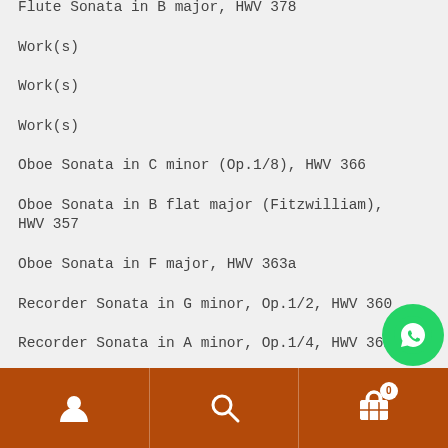Flute Sonata in B major, HWV 378
Work(s)
Work(s)
Work(s)
Oboe Sonata in C minor (Op.1/8), HWV 366
Oboe Sonata in B flat major (Fitzwilliam), HWV 357
Oboe Sonata in F major, HWV 363a
Recorder Sonata in G minor, Op.1/2, HWV 360
Recorder Sonata in A minor, Op.1/4, HWV 362
Navigation bar with user, search, and cart icons